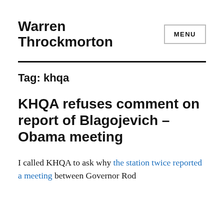Warren Throckmorton
Tag: khqa
KHQA refuses comment on report of Blagojevich – Obama meeting
I called KHQA to ask why the station twice reported a meeting between Governor Rod